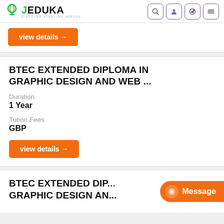JEDUKA - DISCOVER STUDYING ABROAD
view details →
BTEC EXTENDED DIPLOMA IN GRAPHIC DESIGN AND WEB ...
Duration
1 Year
Tution Fees
GBP
view details →
BTEC EXTENDED DIPLOMA IN GRAPHIC DESIGN AN...
Message